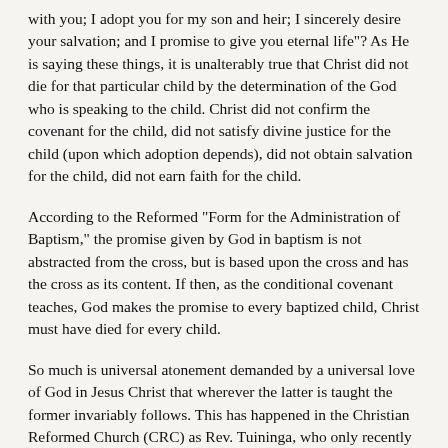with you; I adopt you for my son and heir; I sincerely desire your salvation; and I promise to give you eternal life"? As He is saying these things, it is unalterably true that Christ did not die for that particular child by the determination of the God who is speaking to the child. Christ did not confirm the covenant for the child, did not satisfy divine justice for the child (upon which adoption depends), did not obtain salvation for the child, did not earn faith for the child.
According to the Reformed "Form for the Administration of Baptism," the promise given by God in baptism is not abstracted from the cross, but is based upon the cross and has the cross as its content. If then, as the conditional covenant teaches, God makes the promise to every baptized child, Christ must have died for every child.
So much is universal atonement demanded by a universal love of God in Jesus Christ that wherever the latter is taught the former invariably follows. This has happened in the Christian Reformed Church (CRC) as Rev. Tuininga, who only recently left this church, knows well. The covenant doctrine that prevailed in the CRC Reformed church has been a conditional one